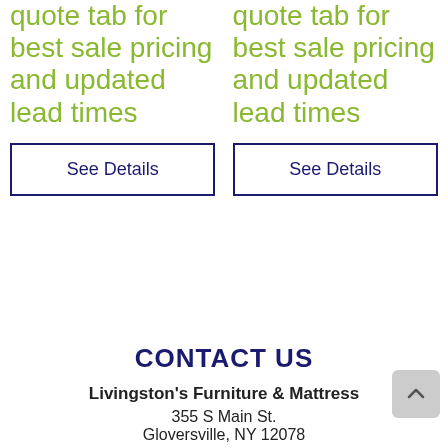quote tab for best sale pricing and updated lead times
See Details
quote tab for best sale pricing and updated lead times
See Details
CONTACT US
Livingston's Furniture & Mattress
355 S Main St.
Gloversville, NY 12078